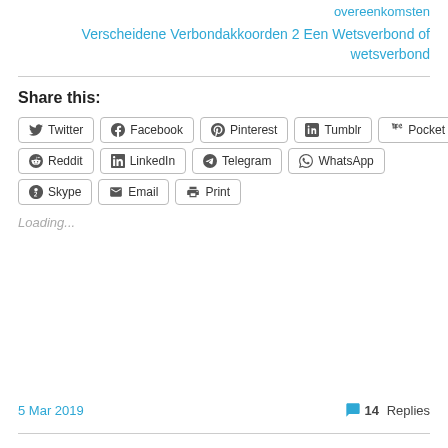overeenkomsten
Verscheidene Verbondakkoorden 2 Een Wetsverbond of wetsverbond
Share this:
Twitter
Facebook
Pinterest
Tumblr
Pocket
Reddit
LinkedIn
Telegram
WhatsApp
Skype
Email
Print
Loading...
5 Mar 2019
14 Replies